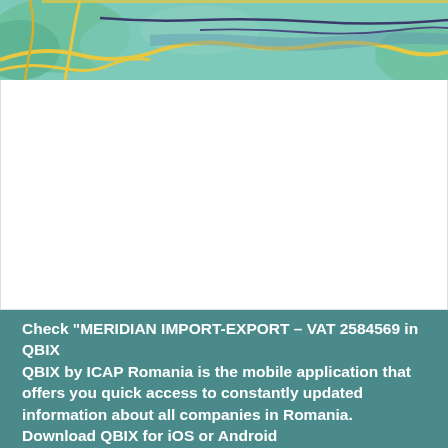[Figure (map): Top strip of a map showing terrain with green areas, yellow roads, dark blue river/route lines, on a light teal background]
Check "MERIDIAN IMPORT-EXPORT - VAT 2584569 in QBIX
QBIX by ICAP Romania is the mobile application that offers you quick access to constantly updated information about all companies in Romania. Download QBIX for iOS or Android